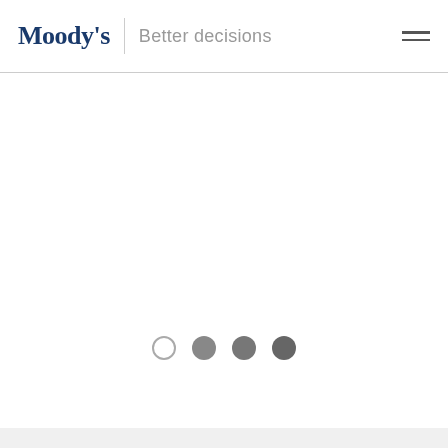Moody's | Better decisions
[Figure (other): Moody's website screenshot showing header with logo, tagline 'Better decisions', hamburger menu icon, horizontal separator line, large white content area, and four carousel navigation dots at the bottom (one empty circle, three filled grey circles)]